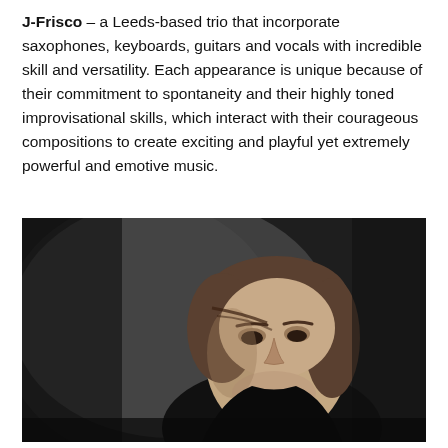J-Frisco – a Leeds-based trio that incorporate saxophones, keyboards, guitars and vocals with incredible skill and versatility. Each appearance is unique because of their commitment to spontaneity and their highly toned improvisational skills, which interact with their courageous compositions to create exciting and playful yet extremely powerful and emotive music.
[Figure (photo): Black and white portrait photograph of a woman with short hair, looking upward with an expressive face, photographed against a dark background.]